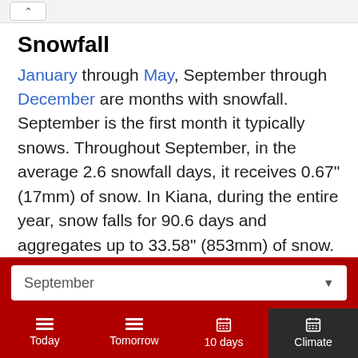Snowfall
January through May, September through December are months with snowfall. September is the first month it typically snows. Throughout September, in the average 2.6 snowfall days, it receives 0.67" (17mm) of snow. In Kiana, during the entire year, snow falls for 90.6 days and aggregates up to 33.58" (853mm) of snow.
Daylight
September (dropdown)
Today | Tomorrow | 10 days | Climate (nav bar)